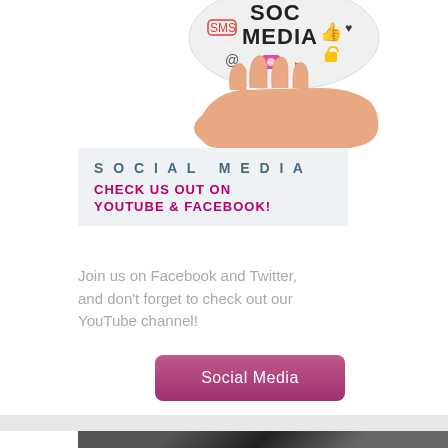[Figure (photo): A hand holding a globe/ball decorated with social media icons and text 'SOCIAL MEDIA', cropped to show only the top portion of the ball and the hand]
SOCIAL MEDIA
CHECK US OUT ON YOUTUBE & FACEBOOK!
Join us on Facebook and Twitter, and don't forget to check out our YouTube channel!
[Figure (other): Pink/purple 'Social Media' button]
[Figure (photo): Bottom strip showing a dark architectural or abstract photo, partially visible]